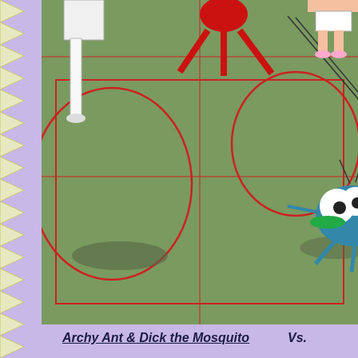[Figure (illustration): Comic book page showing top panel: a sports court scene (badminton/tennis court) with a mosquito character in the center holding something green, red stick figure legs visible, a human player in top right corner, court lines in red on green background. Below: purple banner with title text 'Archy Ant & Dick the Mosquito Vs.' followed by a pink box containing 4 golden coin/medallion shapes and text 'Win!' in dark brown bold font. Bottom area shows a blonde cartoon character head and a speech bubble saying 'The pink tea...']
Archy Ant & Dick the Mosquito   Vs.
Win!
The pink tea